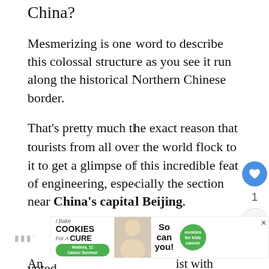China?
Mesmerizing is one word to describe this colossal structure as you see it run along the historical Northern Chinese border.
That's pretty much the exact reason that tourists from all over the world flock to it to get a glimpse of this incredible feat of engineering, especially the section near China's capital Beijing.
The Great Wall of China is also one of the 7 wonders of the world today as voted 100 million people.
[Figure (other): Advertisement banner: I Bake Cookies For A Cure with Holdora, 11 Cancer Survivor badge, photo of woman with cookies, So can you!, cookies for kids cancer green circle logo, close button]
An...ist with